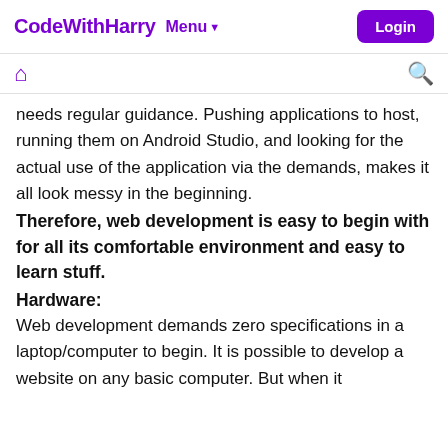CodeWithHarry  Menu▼  Login
needs regular guidance. Pushing applications to host, running them on Android Studio, and looking for the actual use of the application via the demands, makes it all look messy in the beginning.
Therefore, web development is easy to begin with for all its comfortable environment and easy to learn stuff.
Hardware:
Web development demands zero specifications in a laptop/computer to begin. It is possible to develop a website on any basic computer. But when it